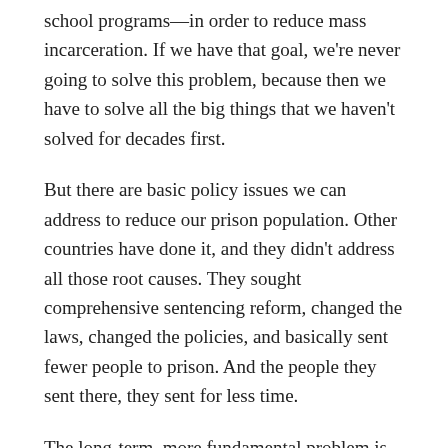school programs—in order to reduce mass incarceration. If we have that goal, we're never going to solve this problem, because then we have to solve all the big things that we haven't solved for decades first.
But there are basic policy issues we can address to reduce our prison population. Other countries have done it, and they didn't address all those root causes. They sought comprehensive sentencing reform, changed the laws, changed the policies, and basically sent fewer people to prison. And the people they sent there, they sent for less time.
The long-term, more fundamental problem is these extraordinary pockets of high crime and high violence. And for that you need to address those root causes.